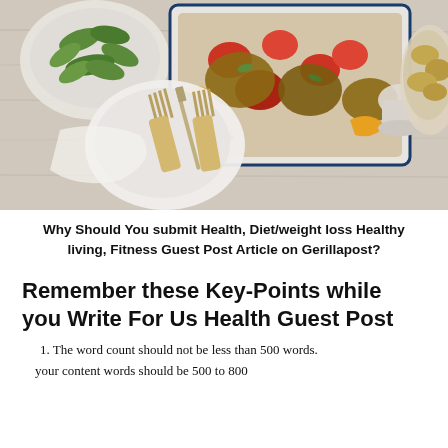[Figure (photo): Overhead food photograph showing a baking dish with roasted chicken and vegetables, a bowl of salad greens, cutlery on a plate, and a side dish of roasted potatoes on a rustic white wooden surface.]
Why Should You submit Health, Diet/weight loss Healthy living, Fitness Guest Post Article on Gerillapost?
Remember these Key-Points while you Write For Us Health Guest Post
1. The word count should not be less than 500 words. your content words should be 500 to 800